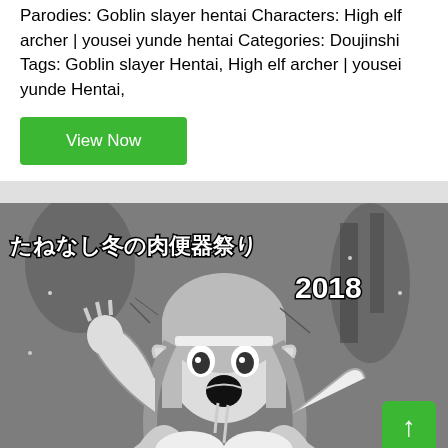Parodies: Goblin slayer hentai Characters: High elf archer | yousei yunde hentai Categories: Doujinshi Tags: Goblin slayer Hentai, High elf archer | yousei yunde Hentai,
View Now
[Figure (illustration): Black and white manga illustration of an anime character with long hair and an open mouth expression, with Japanese text title 'たねなし冬の肉便器祭り' and '2018' overlaid in bold outlined font. A green scroll-to-top button is visible in the bottom right corner.]